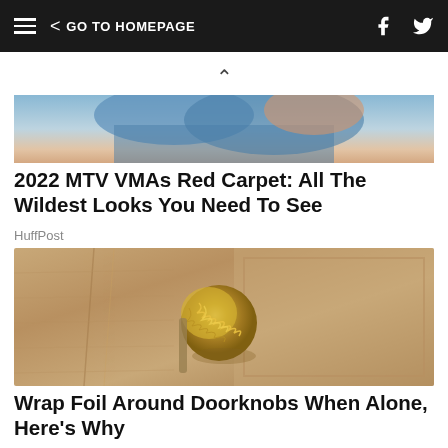GO TO HOMEPAGE
[Figure (photo): Partial view of a person in a blue dress, cropped, top portion of image]
2022 MTV VMAs Red Carpet: All The Wildest Looks You Need To See
HuffPost
[Figure (photo): Close-up photo of a golden/metallic crinkled foil wrapped around a door knob on a tan textured door]
Wrap Foil Around Doorknobs When Alone, Here's Why